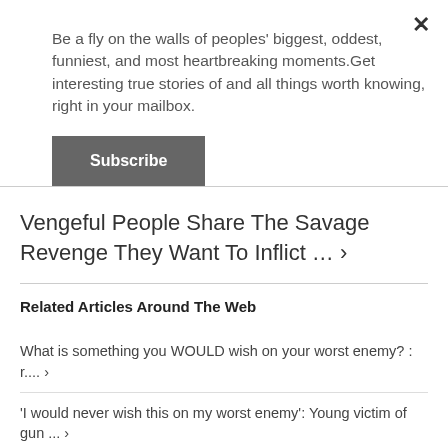Be a fly on the walls of peoples' biggest, oddest, funniest, and most heartbreaking moments.Get interesting true stories of and all things worth knowing, right in your mailbox.
Subscribe
Vengeful People Share The Savage Revenge They Want To Inflict … ›
Related Articles Around The Web
What is something you WOULD wish on your worst enemy? : r.... ›
'I would never wish this on my worst enemy': Young victim of gun ... ›
"This is not something I would wish on my worst enemy": The ... ›